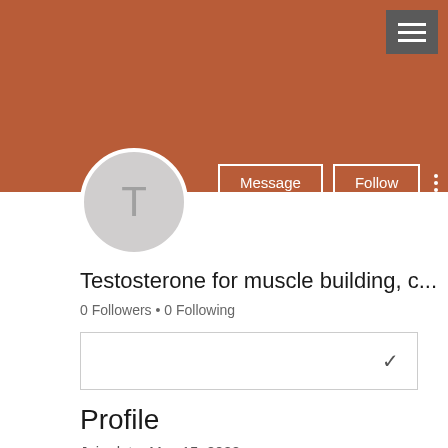[Figure (screenshot): Hamburger menu button (three horizontal lines) on dark gray background, positioned top-right]
[Figure (illustration): Burnt orange/terracotta profile banner/header background]
[Figure (illustration): Circular profile avatar with light gray background and letter T in gray]
Message
Follow
Testosterone for muscle building, c...
0 Followers • 0 Following
Profile
Join date: May 15, 2022